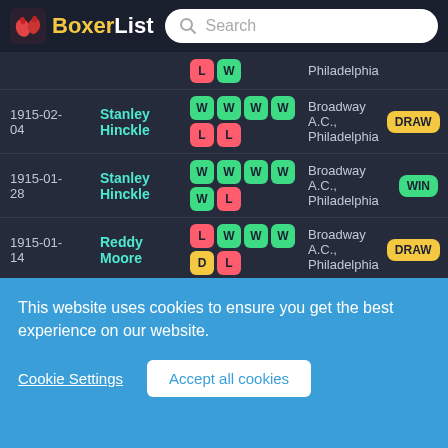BoxerList
| Date | Opponent | Badges | Venue | Result |
| --- | --- | --- | --- | --- |
|  |  | L, (green) | Philadelphia |  |
| 1915-02-04 | Stanley Hinckle | W W W / W L L | Broadway A.C., Philadelphia | DRAW |
| 1915-01-28 | Stanley Hinckle | W W W / W W L | Broadway A.C., Philadelphia | WIN |
| 1915-01-14 | Reddy Moore | L W W / W D L | Broadway A.C., Philadelphia | DRAW |
| 1914-11-16 | Charlie Scully | W D L | Olympia A.C., Philadelphia | LOST |
| 1914-09-29 | Johnny Piazzi | L W L W / W ... | Fairmont A.C., | WIN |
This website uses cookies to ensure you get the best experience on our website.
Cookie Settings
Accept all cookies